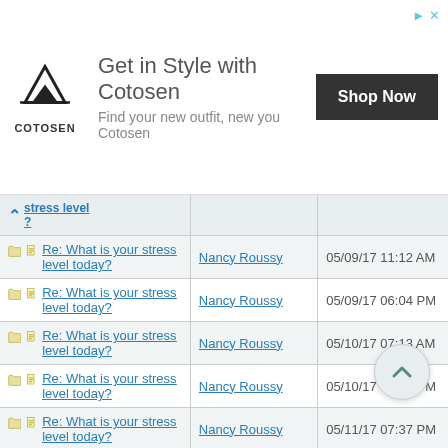[Figure (other): Cotosen advertisement banner with mountain logo, tagline 'Get in Style with Cotosen / Find your new outfit, new you Cotosen', and a 'Shop Now' button]
| Thread | Author | Date |
| --- | --- | --- |
| Re: What is your stress level today? | Nancy Roussy | 05/09/17 11:12 AM |
| Re: What is your stress level today? | Nancy Roussy | 05/09/17 06:04 PM |
| Re: What is your stress level today? | Nancy Roussy | 05/10/17 07:13 AM |
| Re: What is your stress level today? | Nancy Roussy | 05/10/17 07:29 PM |
| Re: What is your stress level today? | Nancy Roussy | 05/11/17 07:37 PM |
| Re: What is your stress level today? | Nancy Roussy | 05/12/17 07:23 PM |